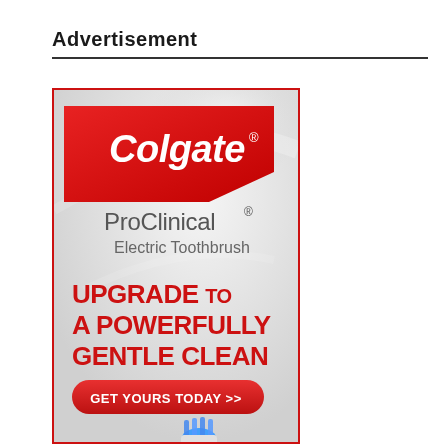Advertisement
[Figure (illustration): Colgate ProClinical Electric Toothbrush advertisement. Red and white ad with Colgate logo at top on red banner, 'ProClinical® Electric Toothbrush' text below, bold red text reading 'UPGRADE TO A POWERFULLY GENTLE CLEAN', a red rounded button reading 'GET YOURS TODAY >>', and a toothbrush head at the bottom.]